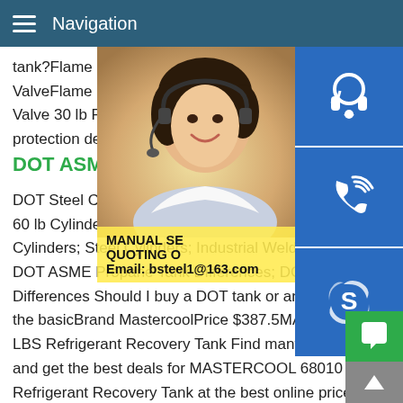Navigation
tank?Flame King 30 lb Empty Steel Propa ValveFlame King 30 lb Empty Steel Propa Valve 30 lb Propane Cylinder with Type 1 ( protection device) valvePrepurged
DOT ASME Propane Tank Dif
DOT Steel Cylinders.10 - 20 lb Cylinders; 60 lb Cylinders; 100 - 200 lb Cylinders; Fo Cylinders; Steel Cylinders; Industrial Weld DOT ASME Propane Tank Differences; DC Differences Should I buy a DOT tank or an ASME tank? Here are the basicBrand MastercoolPrice $387.5MASTERCOOL 68010 100 LBS Refrigerant Recovery Tank Find many great new used op and get the best deals for MASTERCOOL 68010 100 LBS Refrigerant Recovery Tank at the best online prices at ! Free shipping for many products! Complete A/C Recovery System
[Figure (photo): Woman with headset smiling, customer service representative photo]
[Figure (infographic): Blue sidebar icons: headset/support icon, phone/call icon, Skype icon]
MANUAL SE QUOTING O Email: bsteel1@163.com